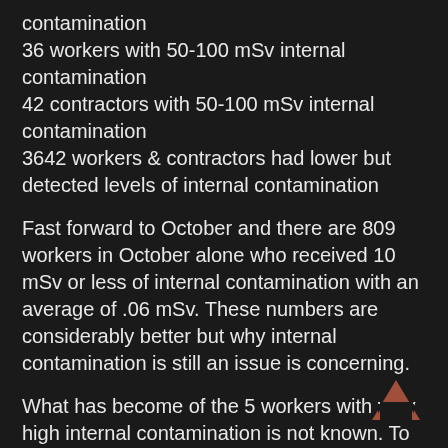contamination
36 workers with 50-100 mSv internal contamination
42 contractors with 50-100 mSv internal contamination
3642 workers & contractors had lower but detected levels of internal contamination
Fast forward to October and there are 809 workers in October alone who received 10 mSv or less of internal contamination with an average of .06 mSv. These numbers are considerably better but why internal contamination is still an issue is concerning.
What has become of the 5 workers with very high internal contamination is not known. To date neither the government or TEPCO has set up any